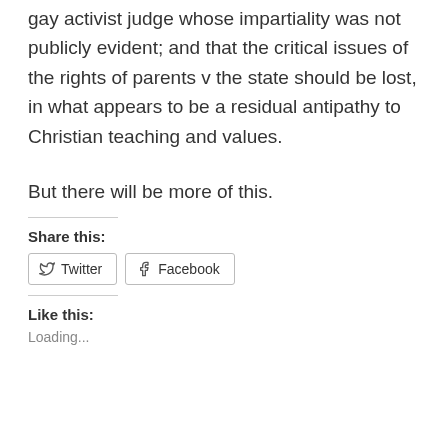gay activist judge whose impartiality was not publicly evident; and that the critical issues of the rights of parents v the state should be lost, in what appears to be a residual antipathy to Christian teaching and values.
But there will be more of this.
Share this:
Twitter  Facebook
Like this:
Loading...